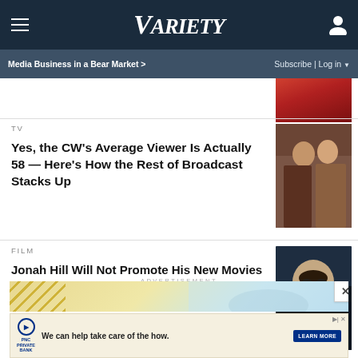VARIETY — Media Business in a Bear Market > | Subscribe | Log in
TV
Yes, the CW's Average Viewer Is Actually 58 — Here's How the Rest of Broadcast Stacks Up
[Figure (photo): Two people posing, appears to be TV show promotional image]
FILM
Jonah Hill Will Not Promote His New Movies Because of Mental Health: Press Tours 'Exacerbate Anxiety Attacks'
[Figure (photo): Portrait photo of Jonah Hill against dark background]
ADVERTISEMENT
[Figure (screenshot): PNC Private Bank advertisement — 'We can help take care of the how.' with Learn More button]